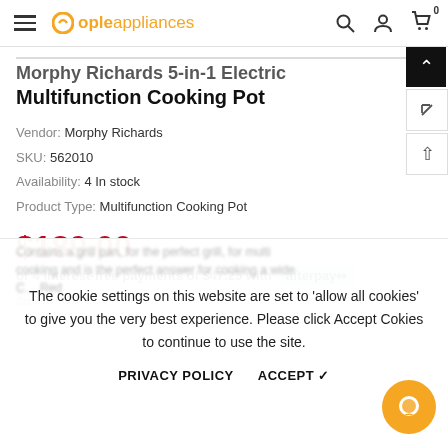opleappliances — navigation bar with search, account, and cart icons
Morphy Richards 5-in-1 Electric Multifunction Cooking Pot
Vendor: Morphy Richards
SKU: 562010
Availability: 4 In stock
Product Type: Multifunction Cooking Pot
$189.00
or 4 interest-free payments of $47.25 with afterpay
$209.00
Convenient cooking at your fingertips with the Multifunction...
The cookie settings on this website are set to 'allow all cookies' to give you the very best experience. Please click Accept Cookies to continue to use the site.
PRIVACY POLICY   ACCEPT ✓